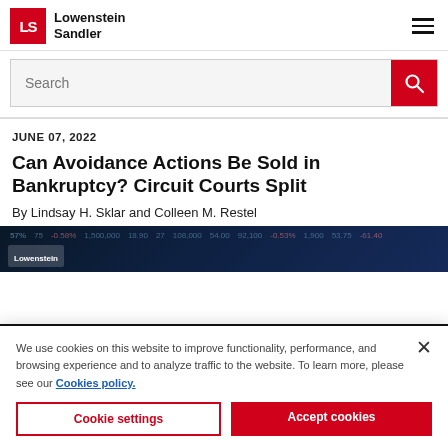Lowenstein Sandler
[Figure (screenshot): Search bar with red search button]
JUNE 07, 2022
Can Avoidance Actions Be Sold in Bankruptcy? Circuit Courts Split
By Lindsay H. Sklar and Colleen M. Restel
[Figure (photo): Dark blue financial data background with Lowenstein logo overlay]
We use cookies on this website to improve functionality, performance, and browsing experience and to analyze traffic to the website. To learn more, please see our Cookies policy.